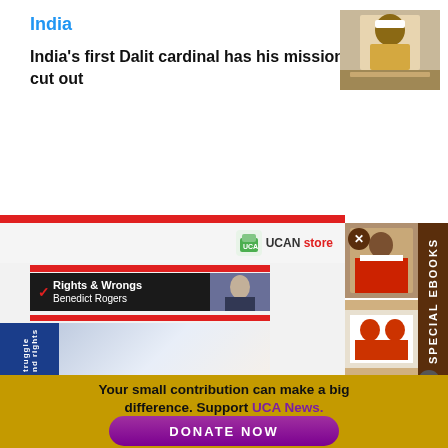India
India's first Dalit cardinal has his mission cut out
[Figure (photo): Photo of India's first Dalit cardinal in ceremonial robes at a podium]
[Figure (screenshot): UCAN Store website screenshot showing 'Rights & Wrongs' by Benedict Rogers newsletter/ebook and book cover about struggle and rights]
[Figure (photo): Photo of cardinals in red robes processing]
[Figure (photo): Photo of cardinals in white robes at ceremony]
Your small contribution can make a big difference. Support UCA News.
DONATE NOW